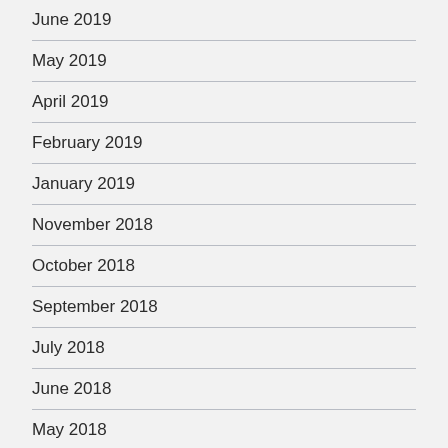June 2019
May 2019
April 2019
February 2019
January 2019
November 2018
October 2018
September 2018
July 2018
June 2018
May 2018